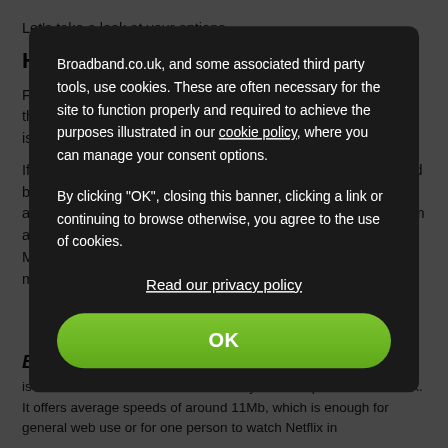Let's take a look at your options.
How light is light use?
First of all, you need to work out how much you actually use the internet, to make sure your usage is as low as you think it is.
If your usage is mostly things like web browsing, shopping and bill paying then that's definitely light use. TV streaming counts as well, so bear this in mind, particularly if you're getting it from any other source than a basic Freeview or satellite package. Most quick downloads are fine too, but gaming counts as moderate use.
Broadband.co.uk, and some associated third party tools, use cookies. These are often necessary for the site to function properly and required to achieve the purposes illustrated in our cookie policy, where you can manage your consent options.
By clicking "OK", closing this banner, clicking a link or continuing to browse otherwise, you agree to the use of cookies.
Read our privacy policy
OK
Broadband.co.uk Basic
The full-fibre service that runs entirely on the Openreach network. It offers average speeds of around 11Mb, which is enough for general web use or for one person to watch Netflix in